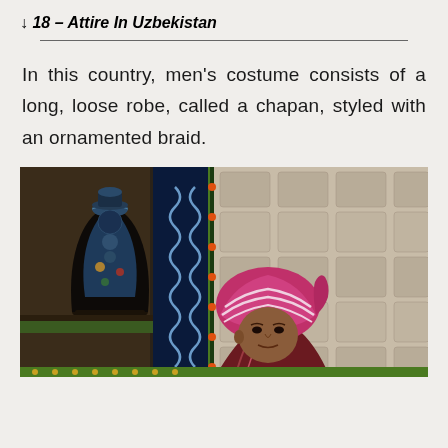↓ 18 – Attire In Uzbekistan
In this country, men's costume consists of a long, loose robe, called a chapan, styled with an ornamented braid.
[Figure (photo): A man wearing a colorful turban (pink and white striped) in a room decorated with ornate Uzbek tilework, carved wooden panels with blue and white patterns, and a large decorative ceramic vase with floral motifs in the background.]